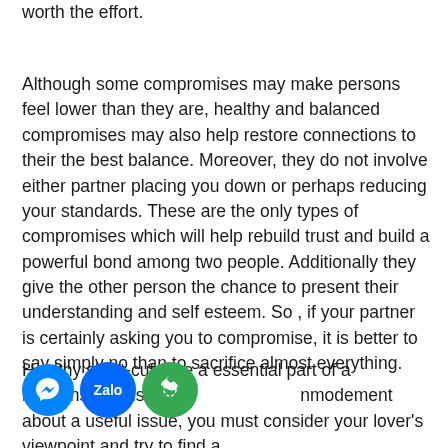worth the effort.
Although some compromises may make persons feel lower than they are, healthy and balanced compromises may also help restore connections to their the best balance. Moreover, they do not involve either partner placing you down or perhaps reducing your standards. These are the only types of compromises which will help rebuild trust and build a powerful bond among two people. Additionally they give the other person the chance to present their understanding and self esteem. So , if your partner is certainly asking you to compromise, it is better to say simply no than to sacrifice almost everything.
Healthy short-cuts are a essential part of a relationship. Instead of arguing about a useful issue, you must consider your lover's viewpoint and try to find a